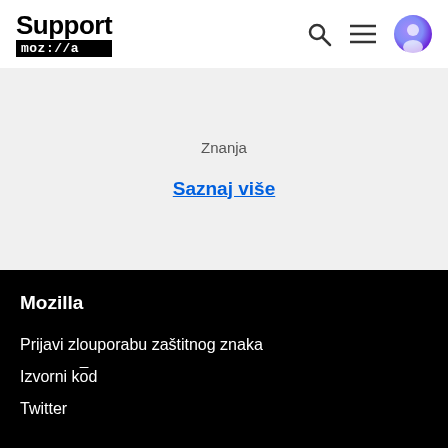Support mozilla
Znanja
Saznaj više
Mozilla
Prijavi zlouporabu zaštitnog znaka
Izvorni kōd
Twitter